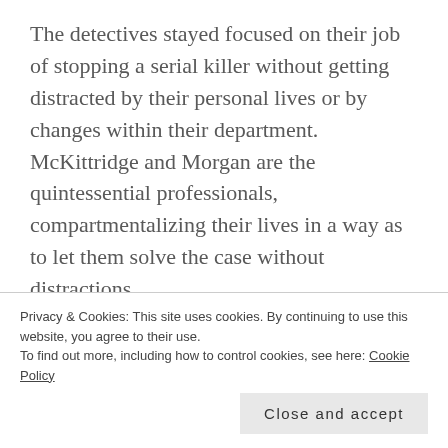The detectives stayed focused on their job of stopping a serial killer without getting distracted by their personal lives or by changes within their department.  McKittridge and Morgan are the quintessential professionals, compartmentalizing their lives in a way as to let them solve the case without distractions.
The story is engaging and flows naturally, the suspense building as it moved closer to the date of the next murder.  I liked the slow build to a
Privacy & Cookies: This site uses cookies. By continuing to use this website, you agree to their use.
To find out more, including how to control cookies, see here: Cookie Policy
Close and accept